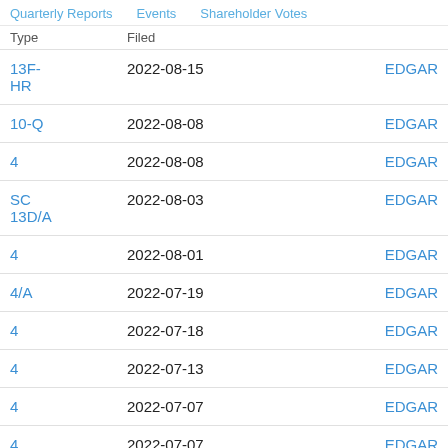Quarterly Reports   Events   Shareholder Votes
| Type | Filed |  |  |
| --- | --- | --- | --- |
| 13F-HR | 2022-08-15 |  | EDGAR |
| 10-Q | 2022-08-08 |  | EDGAR |
| 4 | 2022-08-08 |  | EDGAR |
| SC 13D/A | 2022-08-03 |  | EDGAR |
| 4 | 2022-08-01 |  | EDGAR |
| 4/A | 2022-07-19 |  | EDGAR |
| 4 | 2022-07-18 |  | EDGAR |
| 4 | 2022-07-13 |  | EDGAR |
| 4 | 2022-07-07 |  | EDGAR |
| 4 | 2022-07-07 |  | EDGAR |
| 4 | 2022-07-01 |  | EDGAR |
| S-8 | 2022-07-01 |  | EDGAR |
| 11-K | 2022-06-29 |  | EDGAR |